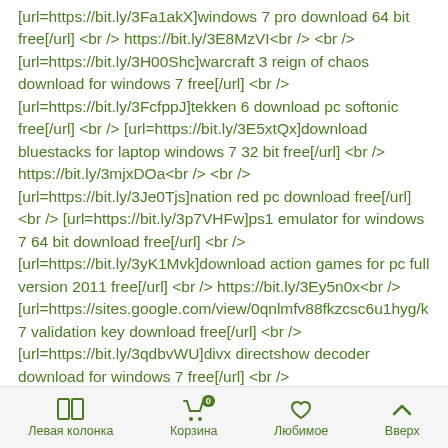[url=https://bit.ly/3Fa1akX]windows 7 pro download 64 bit free[/url] <br /> https://bit.ly/3E8MzVI<br /> <br /> [url=https://bit.ly/3H00Shc]warcraft 3 reign of chaos download for windows 7 free[/url] <br /> [url=https://bit.ly/3FcfppJ]tekken 6 download pc softonic free[/url] <br /> [url=https://bit.ly/3E5xtQx]download bluestacks for laptop windows 7 32 bit free[/url] <br /> https://bit.ly/3mjxDOa<br /> <br /> [url=https://bit.ly/3Je0Tjs]nation red pc download free[/url] <br /> [url=https://bit.ly/3p7VHFw]ps1 emulator for windows 7 64 bit download free[/url] <br /> [url=https://bit.ly/3yK1Mvk]download action games for pc full version 2011 free[/url] <br /> https://bit.ly/3Ey5n0x<br /> [url=https://sites.google.com/view/0qnlmfv88fkzcsc6u1hyg/k 7 validation key download free[/url] <br /> [url=https://bit.ly/3qdbvWU]divx directshow decoder download for windows 7 free[/url] <br /> [url=https://bit.ly/32aFyGt]download and install fifa 14 pc
Левая колонка  Корзина  Любимое  Вверх